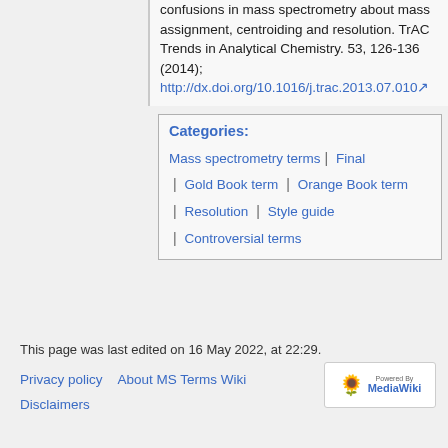confusions in mass spectrometry about mass assignment, centroiding and resolution. TrAC Trends in Analytical Chemistry. 53, 126-136 (2014); http://dx.doi.org/10.1016/j.trac.2013.07.010
Categories: Mass spectrometry terms | Final | Gold Book term | Orange Book term | Resolution | Style guide | Controversial terms
This page was last edited on 16 May 2022, at 22:29.
Privacy policy   About MS Terms Wiki
Disclaimers